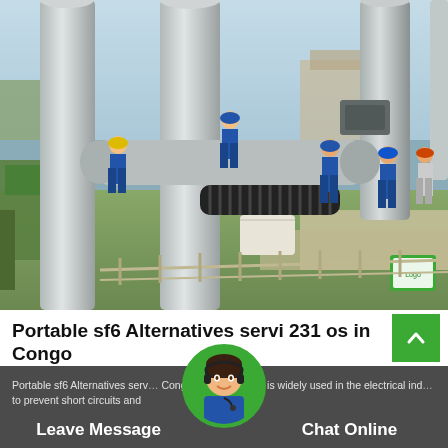[Figure (photo): Workers in blue uniforms and hard hats working at an electrical substation with large grey cylindrical equipment (SF6 circuit breakers/GIS) and pipes. Multiple workers visible, green grass ground, industrial facility setting.]
Portable sf6 Alternatives servi 231 os in Congo
Portable sf6 Alternatives servi… Congo12/06/2020SF6 is widely used in the electrical ind… to prevent short circuits and